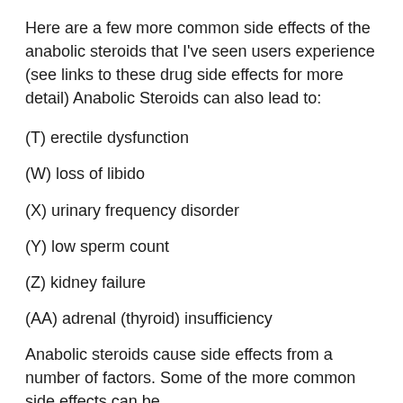Here are a few more common side effects of the anabolic steroids that I've seen users experience (see links to these drug side effects for more detail) Anabolic Steroids can also lead to:
(T) erectile dysfunction
(W) loss of libido
(X) urinary frequency disorder
(Y) low sperm count
(Z) kidney failure
(AA) adrenal (thyroid) insufficiency
Anabolic steroids cause side effects from a number of factors. Some of the more common side effects can be